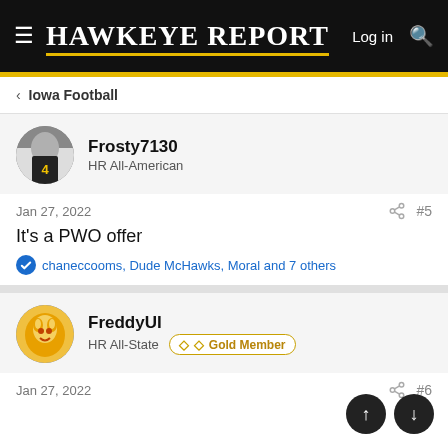Hawkeye Report — Log in
Iowa Football
Frosty7130
HR All-American
Jan 27, 2022   #5
It's a PWO offer
chaneccooms, Dude McHawks, Moral and 7 others
FreddyUI
HR All-State   Gold Member
Jan 27, 2022   #6